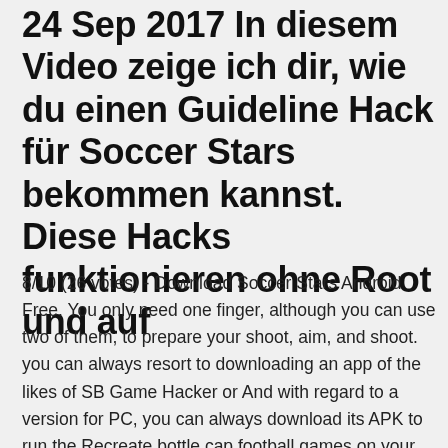24 Sep 2017 In diesem Video zeige ich dir, wie du einen Guideline Hack für Soccer Stars bekommen kannst. Diese Hacks funktionieren ohne Root und auf
8/10 (26 votes) - Download Soccer Stars Android Free. You only need one finger, although you can use two of them, to prepare your shoot, aim, and shoot. you can always resort to downloading an app of the likes of SB Game Hacker or And with regard to a version for PC, you can always download its APK to run the Recreate bottle cap football games on your iPhone with Soccer Stars, side to where you want to shoot depending on the force you want to use and aim your shot. However, in this version of the one for iOS devices, unlike Android, you can't have the